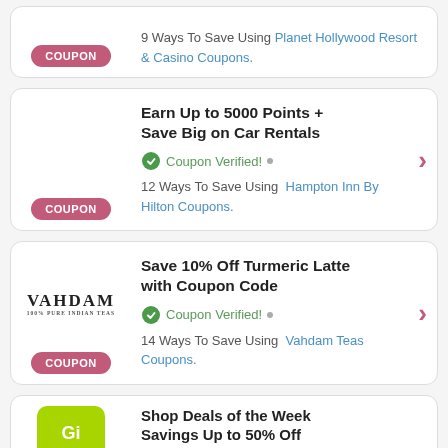[Figure (screenshot): Top partial coupon card showing Planet Hollywood Resort & Casino Coupons link]
Earn Up to 5000 Points + Save Big on Car Rentals - Coupon Verified! - 12 Ways To Save Using Hampton Inn By Hilton Coupons.
Save 10% Off Turmeric Latte with Coupon Code - Coupon Verified! - 14 Ways To Save Using Vahdam Teas Coupons.
Shop Deals of the Week Savings Up to 50% Off